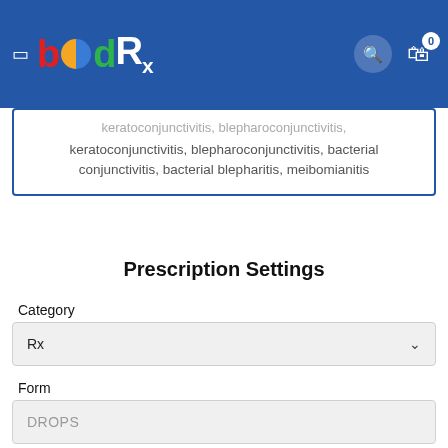bödRx — navigation bar with logo, search, and cart
keratoconjunctivitis, blepharoconjunctivitis, bacterial conjunctivitis, bacterial blepharitis, meibomianitis
Prescription Settings
Category
Rx
Form
DROPS
Dosage on Prescription